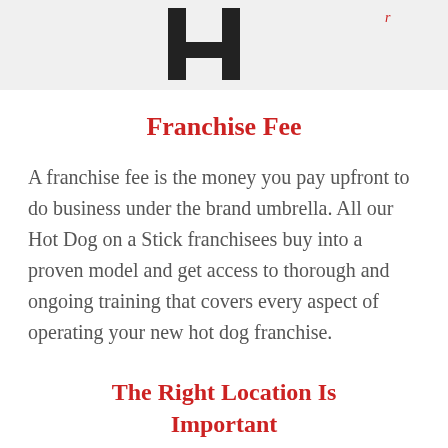[Figure (illustration): Partial logo or illustration of Hot Dog on a Stick brand, showing letter forms on a light grey background, cropped at top of page.]
Franchise Fee
A franchise fee is the money you pay upfront to do business under the brand umbrella. All our Hot Dog on a Stick franchisees buy into a proven model and get access to thorough and ongoing training that covers every aspect of operating your new hot dog franchise.
The Right Location Is Important